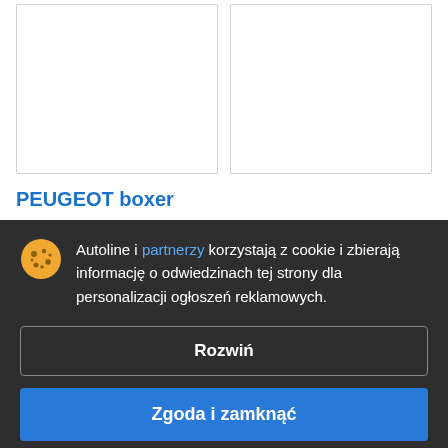[Figure (photo): Two white rectangular image placeholders side by side]
PEUGEOT boxer
28 900 zł  EUR
Ciężarówka plandeka
Rok: 2016  Przebieg: 202532 km
Autoline i partnerzy korzystają z cookie i zbierają informację o odwiedzinach tej strony dla personalizacji ogłoszeń reklamowych.
Rozwiń
Zgoda i zamknąć